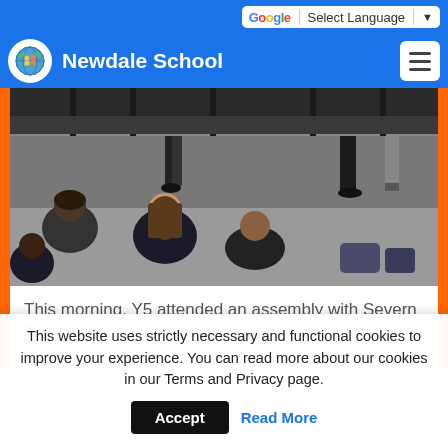Select Language
Newdale School
[Figure (photo): Children sitting on the floor in a school hall, viewed from behind, with adults standing at the front near folded tables/chairs.]
This morning, Y5 attended an assembly with Severn Trent Water. We recapped the water cycle
This website uses strictly necessary and functional cookies to improve your experience. You can read more about our cookies in our Terms and Privacy page.